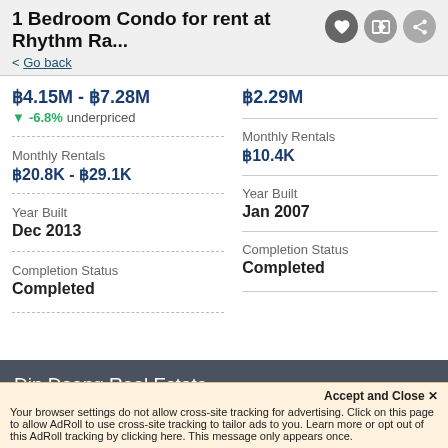1 Bedroom Condo for rent at Rhythm Ra...
< Go back
฿4.15M - ฿7.28M
▼ -6.8% underpriced
Monthly Rentals
฿20.8K - ฿29.1K
Year Built
Dec 2013
Completion Status
Completed
฿2.29M
Monthly Rentals
฿10.4K
Year Built
Jan 2007
Completion Status
Completed
Din Daeng Real Estate
Your browser settings do not allow cross-site tracking for advertising. Click on this page to allow AdRoll to use cross-site tracking to tailor ads to you. Learn more or opt out of this AdRoll tracking by clicking here. This message only appears once.